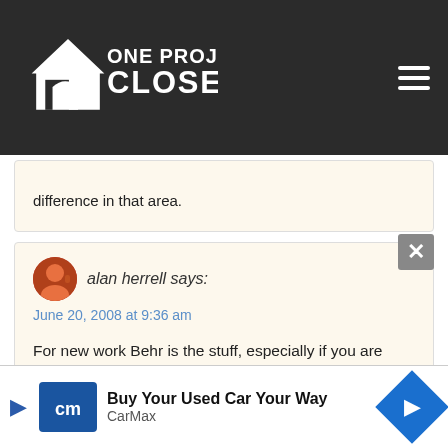[Figure (logo): One Project Closer website logo — white house icon with text 'ONE PROJECT CLOSER' on dark background, with hamburger menu icon on right]
difference in that area.
alan herrell says:
June 20, 2008 at 9:36 am

For new work Behr is the stuff, especially if you are using Behr finish paints. In terms of coverage, behr is a heavier bodied paint and does lay down a thicker coat.

Kilz is the product if you are painting over marker especially 'magic marker' or 'sharpie' ink, or smok
[Figure (screenshot): CarMax advertisement banner: 'Buy Your Used Car Your Way' with CarMax logo and blue diamond arrow icon]